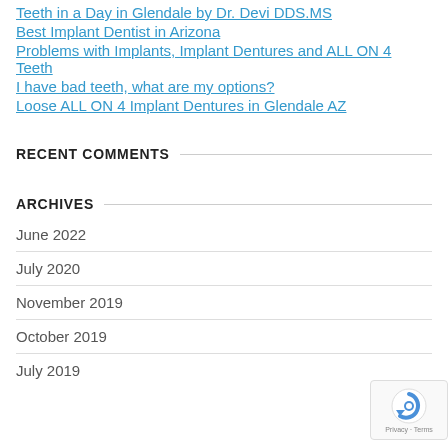Teeth in a Day in Glendale by Dr. Devi DDS.MS
Best Implant Dentist in Arizona
Problems with Implants, Implant Dentures and ALL ON 4 Teeth
I have bad teeth, what are my options?
Loose ALL ON 4 Implant Dentures in Glendale AZ
RECENT COMMENTS
ARCHIVES
June 2022
July 2020
November 2019
October 2019
July 2019